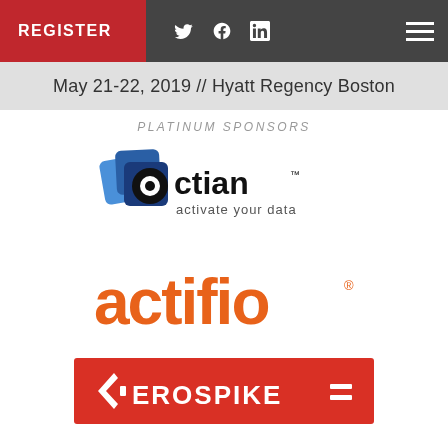REGISTER
May 21-22, 2019 // Hyatt Regency Boston
PLATINUM SPONSORS
[Figure (logo): Actian logo with blue stacked squares and text 'actian activate your data']
[Figure (logo): Actifio logo in orange text]
[Figure (logo): Aerospike logo white text on red background]